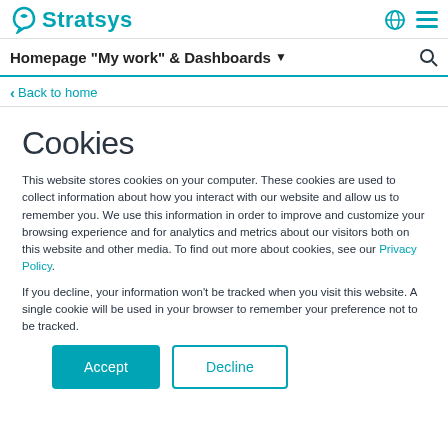Stratsys — Homepage "My work" & Dashboards
Back to home
Cookies
This website stores cookies on your computer. These cookies are used to collect information about how you interact with our website and allow us to remember you. We use this information in order to improve and customize your browsing experience and for analytics and metrics about our visitors both on this website and other media. To find out more about cookies, see our Privacy Policy.
If you decline, your information won't be tracked when you visit this website. A single cookie will be used in your browser to remember your preference not to be tracked.
Accept | Decline